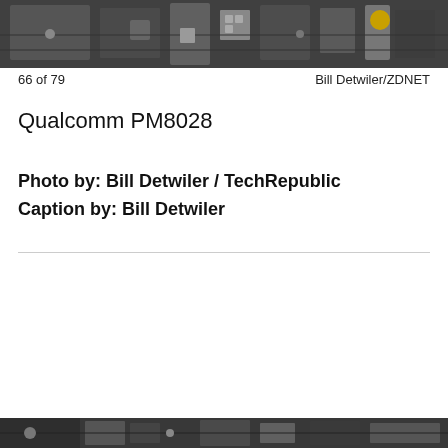[Figure (photo): Close-up macro photograph of electronic circuit board components, showing metallic hardware parts and chips on a PCB, partially cropped at top of page.]
66 of 79    Bill Detwiler/ZDNET
Qualcomm PM8028
Photo by: Bill Detwiler / TechRepublic
Caption by: Bill Detwiler
[Figure (photo): Close-up macro photograph of electronic circuit board components, partially visible at bottom of page.]